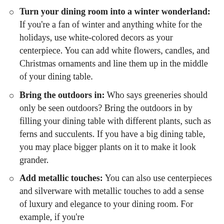Turn your dining room into a winter wonderland: If you're a fan of winter and anything white for the holidays, use white-colored decors as your centerpiece. You can add white flowers, candles, and Christmas ornaments and line them up in the middle of your dining table.
Bring the outdoors in: Who says greeneries should only be seen outdoors? Bring the outdoors in by filling your dining table with different plants, such as ferns and succulents. If you have a big dining table, you may place bigger plants on it to make it look grander.
Add metallic touches: You can also use centerpieces and silverware with metallic touches to add a sense of luxury and elegance to your dining room. For example, if you're